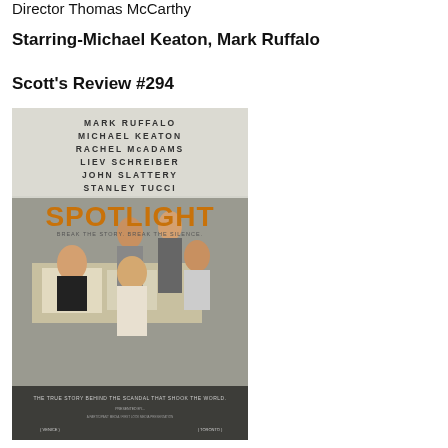Director  Thomas McCarthy
Starring-Michael Keaton, Mark Ruffalo
Scott's Review #294
[Figure (photo): Movie poster for Spotlight featuring cast names Mark Ruffalo, Michael Keaton, Rachel McAdams, Liev Schreiber, John Slattery, Stanley Tucci, with the title SPOTLIGHT in orange letters and tagline 'Break the story. Break the silence.' Shows journalists gathered around a desk in a newsroom. Bottom tagline: 'The true story behind the scandal that shook the world.' Venice and Toronto film festival laurels shown.]